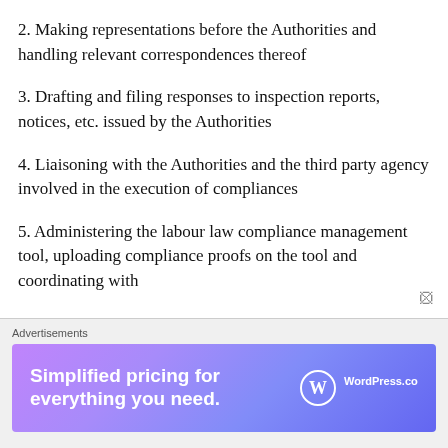2. Making representations before the Authorities and handling relevant correspondences thereof
3. Drafting and filing responses to inspection reports, notices, etc. issued by the Authorities
4. Liaisoning with the Authorities and the third party agency involved in the execution of compliances
5. Administering the labour law compliance management tool, uploading compliance proofs on the tool and coordinating with
Advertisements
[Figure (other): WordPress.com advertisement banner: 'Simplified pricing for everything you need.' with WordPress.com logo]